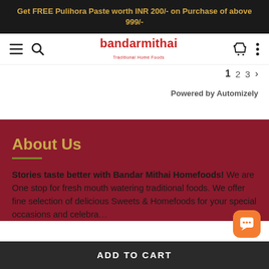Get FREE Pulihora Paste worth INR 200/- on Purchase of above 999/-
[Figure (screenshot): Navigation bar with hamburger menu, search icon, bandarmithai logo in red, shopping cart icon and more options icon]
1 2 3 >
Powered by Automizely
About Us
Stories taste better with Bandar Mithai Homefoods! We are One stop for fresh mouth watering traditional foods. We offer fine selection of delicious Sweets & Homefoods for your special occasions and celebra...
ADD TO CART